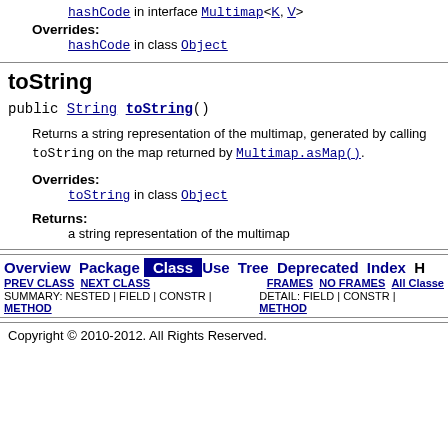hashCode in interface Multimap<K, V>
Overrides:
hashCode in class Object
toString
public String toString()
Returns a string representation of the multimap, generated by calling toString on the map returned by Multimap.asMap().
Overrides:
toString in class Object
Returns:
a string representation of the multimap
Overview Package Class Use Tree Deprecated Index | PREV CLASS NEXT CLASS FRAMES NO FRAMES All Classes | SUMMARY: NESTED | FIELD | CONSTR | METHOD  DETAIL: FIELD | CONSTR | METHOD
Copyright © 2010-2012. All Rights Reserved.